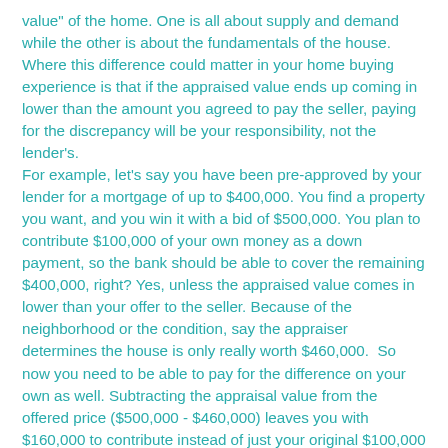value" of the home. One is all about supply and demand while the other is about the fundamentals of the house. Where this difference could matter in your home buying experience is that if the appraised value ends up coming in lower than the amount you agreed to pay the seller, paying for the discrepancy will be your responsibility, not the lender's.
For example, let's say you have been pre-approved by your lender for a mortgage of up to $400,000. You find a property you want, and you win it with a bid of $500,000. You plan to contribute $100,000 of your own money as a down payment, so the bank should be able to cover the remaining $400,000, right? Yes, unless the appraised value comes in lower than your offer to the seller. Because of the neighborhood or the condition, say the appraiser determines the house is only really worth $460,000.  So now you need to be able to pay for the difference on your own as well. Subtracting the appraisal value from the offered price ($500,000 - $460,000) leaves you with $160,000 to contribute instead of just your original $100,000 down payment. If you are unable